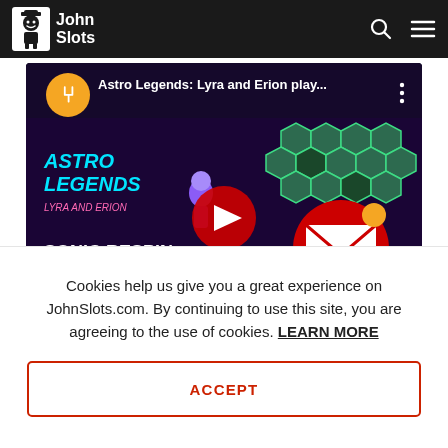John Slots
[Figure (screenshot): YouTube video thumbnail for 'Astro Legends: Lyra and Erion play...' showing a slot game with hexagonal symbols, a purple character, 'SONIC RESPIN' text, and a red email notification icon overlay. Text on image: 'On any random spin a Sonic Respin feature can be randomly triggered. During the feature, winning symbols are held and all other symbols will re-spin until the spin does not increase the size of the cluster, or until the cluster fills up the entire screen.']
Cookies help us give you a great experience on JohnSlots.com. By continuing to use this site, you are agreeing to the use of cookies. LEARN MORE
ACCEPT